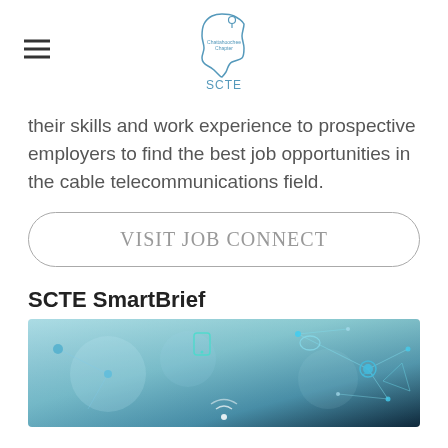SCTE Chattahoochee Chapter logo and hamburger menu
their skills and work experience to prospective employers to find the best job opportunities in the cable telecommunications field.
VISIT JOB CONNECT
SCTE SmartBrief
[Figure (photo): Technology network connectivity background image with glowing nodes, connecting lines, and wireless/internet icons on a blue-green gradient background.]